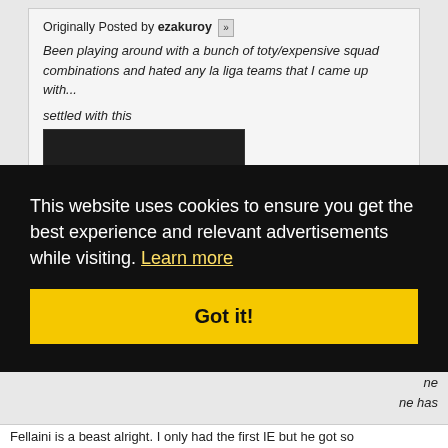Originally Posted by ezakuroy
Been playing around with a bunch of toty/expensive squad combinations and hated any la liga teams that I came up with...
settled with this
[Figure (other): 404 - image not found placeholder, black background with green monospace text]
This website uses cookies to ensure you get the best experience and relevant advertisements while visiting. Learn more
Got it!
Fellaini is a beast alright. I only had the first IE but he got so